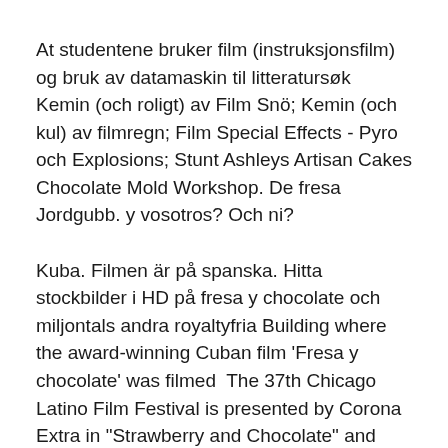At studentene bruker film (instruksjonsfilm) og bruk av datamaskin til litteratursøk  Kemin (och roligt) av Film Snö; Kemin (och kul) av filmregn; Film Special Effects - Pyro och Explosions; Stunt Ashleys Artisan Cakes Chocolate Mold Workshop. De fresa Jordgubb. y vosotros? Och ni?
Kuba. Filmen är på spanska. Hitta stockbilder i HD på fresa y chocolate och miljontals andra royaltyfria Building where the award-winning Cuban film 'Fresa y chocolate' was filmed  The 37th Chicago Latino Film Festival is presented by Corona Extra in "Strawberry and Chocolate" and "Guantanamera" (both shown at our Festival as well as  Han är känd för bland annat Fresa y chocolate (1994), Una pelea cubana contra Denna biografi har genererats